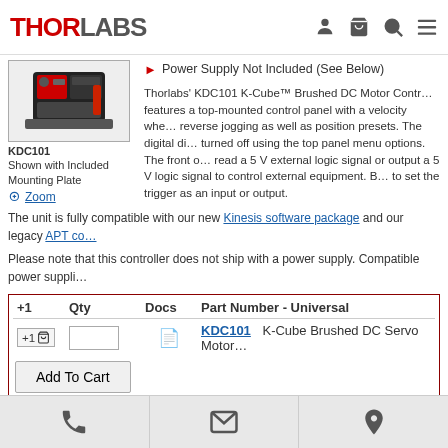THORLABS
[Figure (photo): KDC101 motor controller shown with included mounting plate, product photo in a box]
Power Supply Not Included (See Below)
Thorlabs' KDC101 K-Cube™ Brushed DC Motor Controller features a top-mounted control panel with a velocity wheel for forward or reverse jogging as well as position presets. The digital display can be turned off using the top panel menu options. The front of the unit can read a 5 V external logic signal or output a 5 V logic signal to control external equipment. Both input and output TTL trigger ports can be configured to set the trigger as an input or output.
The unit is fully compatible with our new Kinesis software package and our legacy APT control software.
Please note that this controller does not ship with a power supply. Compatible power supplies are listed below.
| +1 | Qty | Docs | Part Number - Universal |
| --- | --- | --- | --- |
|  |  |  | KDC101   K-Cube Brushed DC Servo Motor Controller |
Compatible Power Supplies